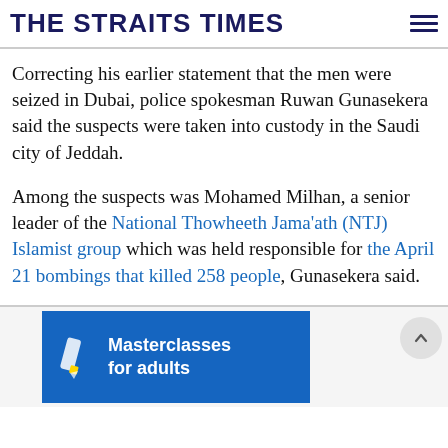THE STRAITS TIMES
Correcting his earlier statement that the men were seized in Dubai, police spokesman Ruwan Gunasekera said the suspects were taken into custody in the Saudi city of Jeddah.
Among the suspects was Mohamed Milhan, a senior leader of the National Thowheeth Jama'ath (NTJ) Islamist group which was held responsible for the April 21 bombings that killed 258 people, Gunasekera said.
[Figure (other): Advertisement banner for Masterclasses for adults with pencil icon on blue background]